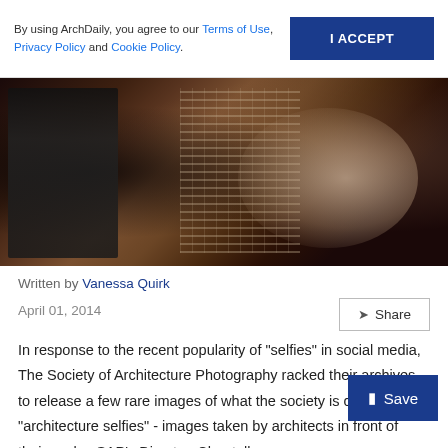By using ArchDaily, you agree to our Terms of Use, Privacy Policy and Cookie Policy.
I ACCEPT
[Figure (photo): Sepia-toned vintage photograph showing two figures, one in a dark suit on the left and another on the right examining or holding what appears to be a large grid or architectural drawing. The image has a warm brown and dark tone.]
Written by Vanessa Quirk
April 01, 2014
Share
In response to the recent popularity of "selfies" in social media, The Society of Architecture Photography racked their archives to release a few rare images of what the society is calling "architecture selfies" - images taken by architects in front of their works. SAP's Director, Chantelle